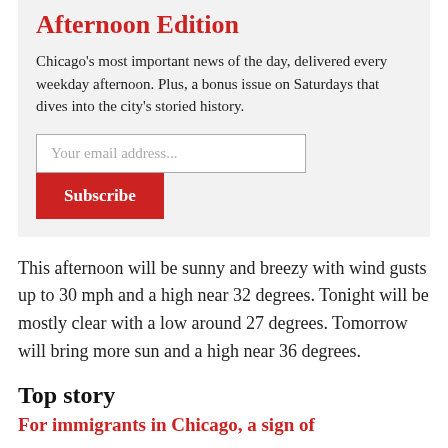Afternoon Edition
Chicago's most important news of the day, delivered every weekday afternoon. Plus, a bonus issue on Saturdays that dives into the city's storied history.
Your email address...
Subscribe
This afternoon will be sunny and breezy with wind gusts up to 30 mph and a high near 32 degrees. Tonight will be mostly clear with a low around 27 degrees. Tomorrow will bring more sun and a high near 36 degrees.
Top story
For immigrants in Chicago, a sign of